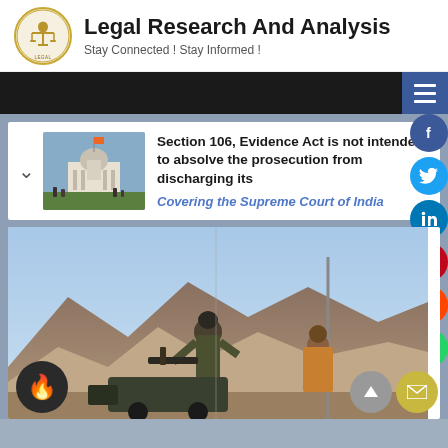[Figure (logo): Legal Research And Analysis circular logo with scales of justice figure in gold]
Legal Research And Analysis
Stay Connected ! Stay Informed !
[Figure (photo): Thumbnail of Indian Supreme Court building with people outside]
Section 106, Evidence Act is not intended to absolve the prosecution from discharging its
Covering the Supreme Court of India
[Figure (photo): Large photo of armed fighters in mountainous terrain, possibly Afghanistan]